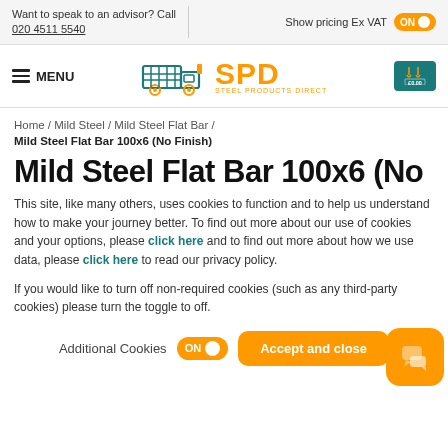Want to speak to an advisor? Call 020 4511 5540 | Show pricing Ex VAT ON
[Figure (logo): SPD Steel Products Direct logo with truck icon and cart showing £0.00]
Home / Mild Steel / Mild Steel Flat Bar / Mild Steel Flat Bar 100x6 (No Finish)
Mild Steel Flat Bar 100x6 (No
This site, like many others, uses cookies to function and to help us understand how to make your journey better. To find out more about our use of cookies and your options, please click here and to find out more about how we use data, please click here to read our privacy policy.
If you would like to turn off non-required cookies (such as any third-party cookies) please turn the toggle to off.
Additional Cookies ON | Accept and close